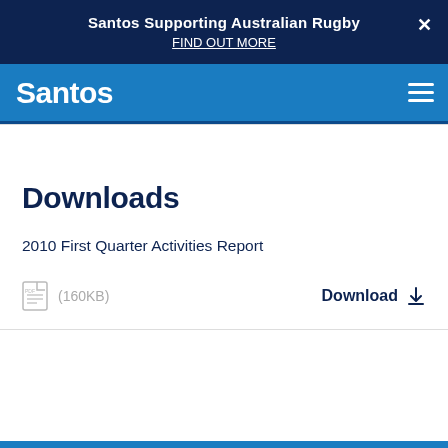Santos Supporting Australian Rugby
FIND OUT MORE
[Figure (logo): Santos company logo in white text on blue navigation bar with hamburger menu icon]
Downloads
2010 First Quarter Activities Report
(160KB) Download